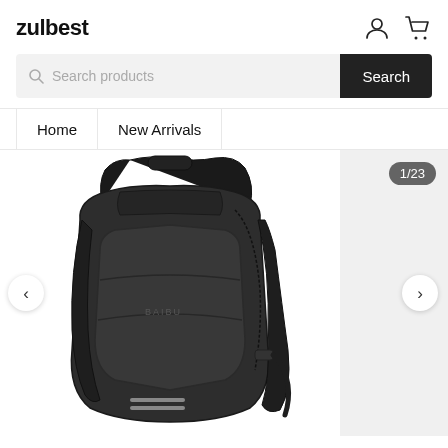zulbest
Search products
Search
Home
New Arrivals
[Figure (photo): Dark gray/black BAIBU brand anti-theft backpack with sleek design, shown in a 3/4 front view on a white background. The backpack has padded shoulder straps, a top handle, and geometric paneling.]
1/23